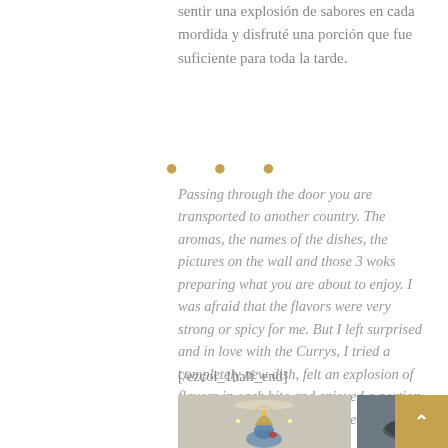sentir una explosión de sabores en cada mordida y disfruté una porción que fue suficiente para toda la tarde.
• • •
Passing through the door you are transported to another country. The aromas, the names of the dishes, the pictures on the wall and those 3 woks preparing what you are about to enjoy. I was afraid that the flavors were very strong or spicy for me. But I left surprised and in love with the Currys, I tried a completely new dish, felt an explosion of flavors in each bite and enjoyed a portion than was enough for the whole afternoon.
[/ezcol_1half_end]
[Figure (photo): Photo of a decorative statue or painting with a chandelier above, blue deity figure with golden headdress holding a red gem]
[Figure (photo): Close-up photo of a wok cooking with flames and green vegetable pieces visible]